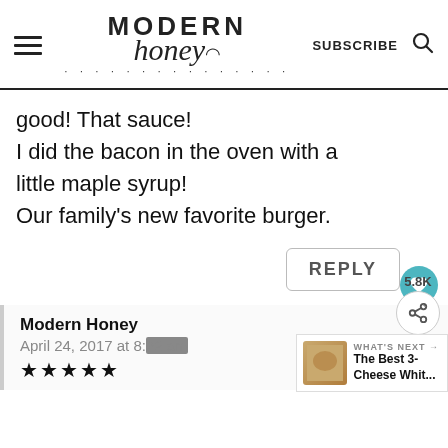MODERN honey | SUBSCRIBE
good! That sauce!
I did the bacon in the oven with a little maple syrup!
Our family's new favorite burger.
REPLY
5.8K
Modern Honey
April 24, 2017 at 8...
[Figure (other): Star rating symbols (5 stars)]
[Figure (other): WHAT'S NEXT → The Best 3-Cheese Whit... thumbnail overlay]